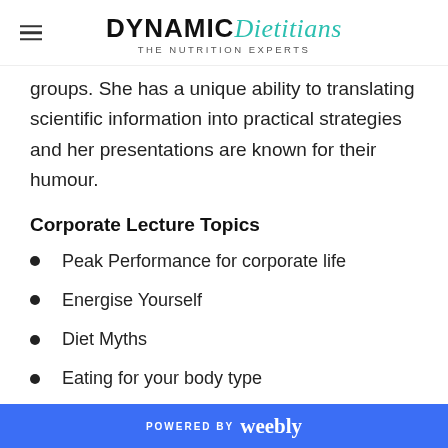DYNAMIC Dietitians THE NUTRITION EXPERTS
groups. She has a unique ability to translating scientific information into practical strategies and her presentations are known for their humour.
Corporate Lecture Topics
Peak Performance for corporate life
Energise Yourself
Diet Myths
Eating for your body type
POWERED BY weebly